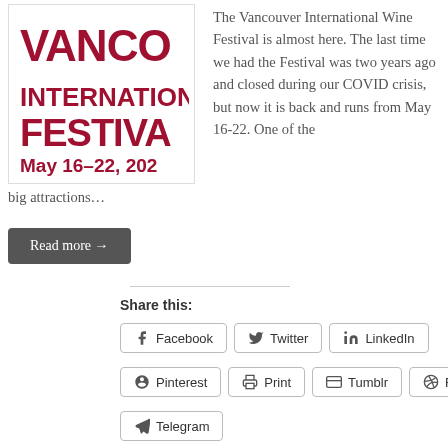[Figure (logo): Vancouver International Festival May 16-22 logo with dark red/crimson text on white background]
The Vancouver International Wine Festival is almost here. The last time we had the Festival was two years ago and closed during our COVID crisis, but now it is back and runs from May 16-22.  One of the big attractions…
Read more →
Share this:
Facebook
Twitter
LinkedIn
Pinterest
Print
Tumblr
Reddit
Telegram